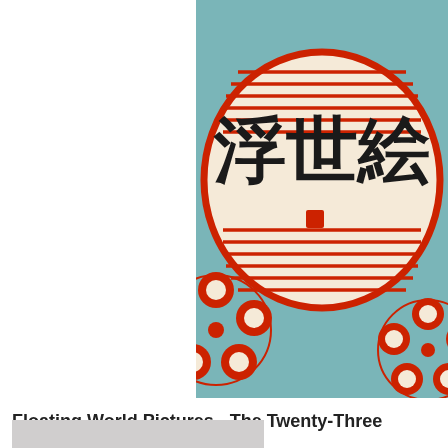[Figure (photo): Album artwork for Floating World Pictures - The Twenty-Three Views. Features a Japanese lantern design with red horizontal lines on a teal/green background, with large black calligraphy characters in the center and red floral decorative elements at the bottom.]
Floating World Pictures - The Twenty-Three Views (LP, light blue vinyl)
£25.99
[Figure (photo): Photo of a young man wearing a dark baseball cap and a dark red t-shirt, holding a violin/fiddle and bow against a light grey background.]